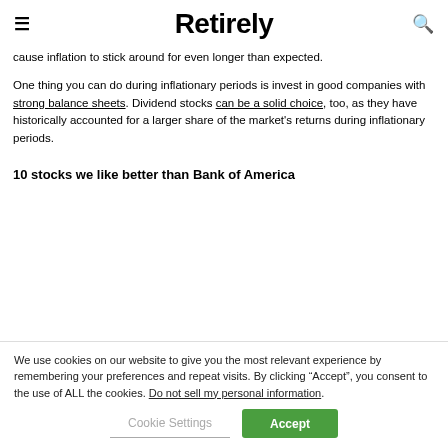Retirely
cause inflation to stick around for even longer than expected.
One thing you can do during inflationary periods is invest in good companies with strong balance sheets. Dividend stocks can be a solid choice, too, as they have historically accounted for a larger share of the market's returns during inflationary periods.
10 stocks we like better than Bank of America
We use cookies on our website to give you the most relevant experience by remembering your preferences and repeat visits. By clicking “Accept”, you consent to the use of ALL the cookies. Do not sell my personal information.